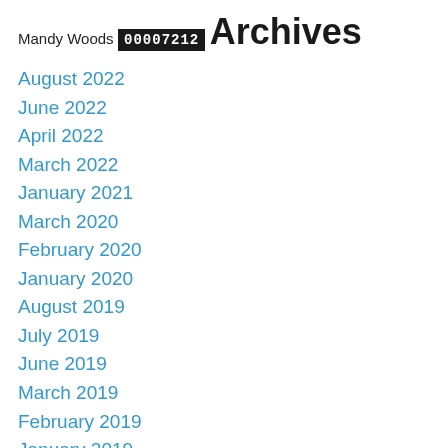Mandy Woods
00007212
Archives
August 2022
June 2022
April 2022
March 2022
January 2021
March 2020
February 2020
January 2020
August 2019
July 2019
June 2019
March 2019
February 2019
January 2019
December 2018
September 2018
July 2018